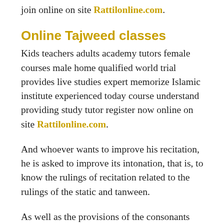join online on site Rattilonline.com.
Online Tajweed classes
Kids teachers adults academy tutors female courses male home qualified world trial provides live studies expert memorize Islamic institute experienced today course understand providing study tutor register now online on site Rattilonline.com.
And whoever wants to improve his recitation, he is asked to improve its intonation, that is, to know the rulings of recitation related to the rulings of the static and tanween.
As well as the provisions of the consonants meme, and the exits of the letters and their attributes, in addition to the extended and